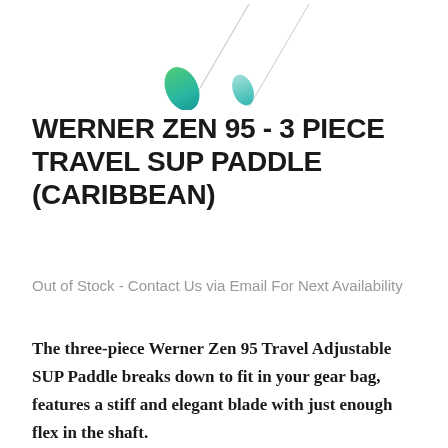[Figure (illustration): Two SUP paddles shown side by side at an angle — one with a green-to-teal gradient blade, one with a light teal/grey blade — both angled diagonally with shafts extending upward to the right.]
WERNER ZEN 95 - 3 PIECE TRAVEL SUP PADDLE (CARIBBEAN)
Out of Stock - Contact Us via Email For Next Availability
The three-piece Werner Zen 95 Travel Adjustable SUP Paddle breaks down to fit in your gear bag, features a stiff and elegant blade with just enough flex in the shaft.